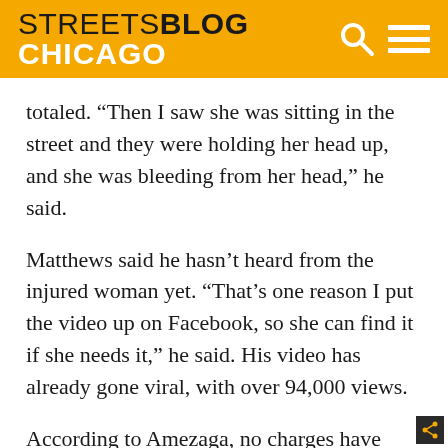STREETSBLOG CHICAGO
totaled. “Then I saw she was sitting in the street and they were holding her head up, and she was bleeding from her head,” he said.
Matthews said he hasn’t heard from the injured woman yet. “That’s one reason I put the video up on Facebook, so she can find it if she needs it,” he said. His video has already gone viral, with over 94,000 views.
According to Amezaga, no charges have been filed in conjunction with the crash, but the case is being investigated. “Any time a squad car is involved in a crash, there is an investigation,” she said.
Here’s wishing the cyclist a speedy recovery